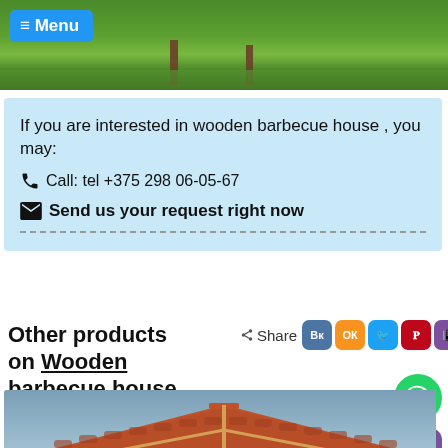[Figure (photo): Top banner photo of green lawn and trees with a blue menu button overlay]
≡ Menu
If you are interested in wooden barbecue house , you may:
📞 Call: tel +375 298 06-05-67
✉ Send us your request right now
Other products on Wooden barbecue house
Share
[Figure (photo): Product image of a wooden barbecue house with a tiled roof against a gray-blue sky background]